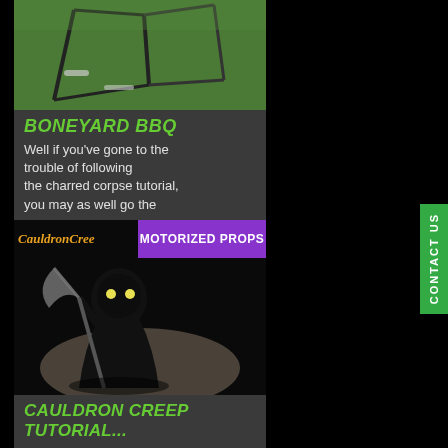[Figure (photo): Boneyard BBQ outdoor scene with grass and dark metal frames/bones on lawn]
BONEYARD BBQ
Well if you've gone to the trouble of following the charred corpse tutorial, you may as well go the
[Figure (photo): Cauldron Creep motorized prop - dark skeletal figure with glowing eyes holding a scythe]
CAULDRON CREEP TUTORIAL...
CONTACT US